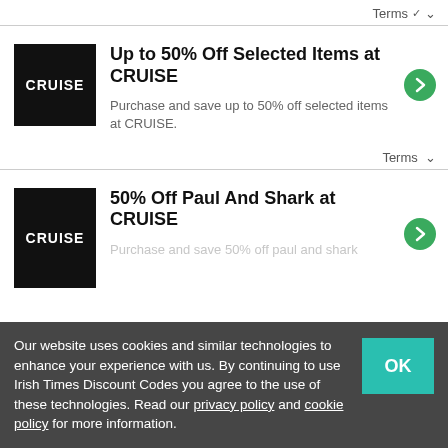Terms ∨
[Figure (logo): CRUISE brand logo — white text on black square background]
Up to 50% Off Selected Items at CRUISE
Purchase and save up to 50% off selected items at CRUISE.
Terms ∨
[Figure (logo): CRUISE brand logo — white text on black square background]
50% Off Paul And Shark at CRUISE
Our website uses cookies and similar technologies to enhance your experience with us. By continuing to use Irish Times Discount Codes you agree to the use of these technologies. Read our privacy policy and cookie policy for more information.